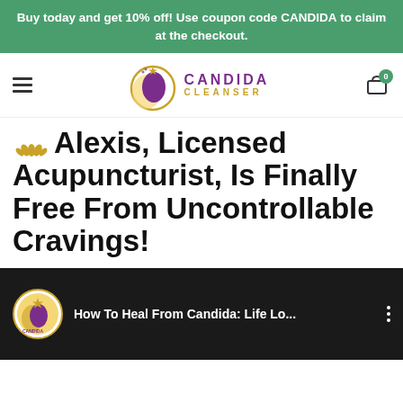Buy today and get 10% off! Use coupon code CANDIDA to claim at the checkout.
[Figure (logo): Candida Cleanser website navigation bar with hamburger menu, Candida Cleanser logo (stylized face with golden circle and purple silhouette), and cart icon with 0 badge]
🌸 Alexis, Licensed Acupuncturist, Is Finally Free From Uncontrollable Cravings!
[Figure (screenshot): Video thumbnail/preview bar for 'How To Heal From Candida: Life Lo...' with Candida Cleanser channel icon on dark background]